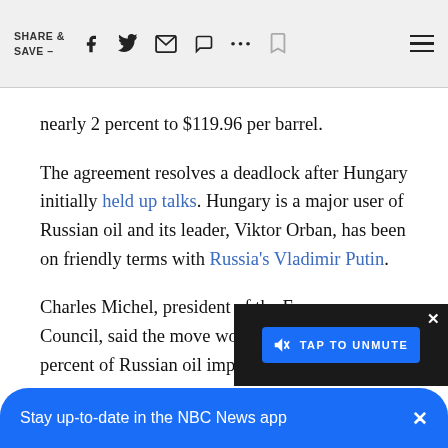SHARE & SAVE —  [social icons: facebook, twitter, email, message, more, bookmark, menu]
nearly 2 percent to $119.96 per barrel.
The agreement resolves a deadlock after Hungary initially held up talks. Hungary is a major user of Russian oil and its leader, Viktor Orban, has been on friendly terms with Russia's Vladimir Putin.
Charles Michel, president of the European Council, said the move would immediately hit 75 percent of Russian oil imports.
The embargo is part of the European … sanctions package on Russia since i… Talks to impose an oil embargo hav…
[Figure (screenshot): Video player overlay with 'TAP TO UNMUTE' button in blue on dark background]
Stay up-to-date in the NBC News app  ×